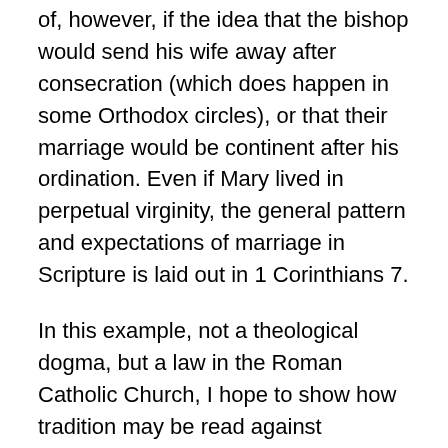of, however, if the idea that the bishop would send his wife away after consecration (which does happen in some Orthodox circles), or that their marriage would be continent after his ordination. Even if Mary lived in perpetual virginity, the general pattern and expectations of marriage in Scripture is laid out in 1 Corinthians 7.
In this example, not a theological dogma, but a law in the Roman Catholic Church, I hope to show how tradition may be read against Scripture. Here, unlike in the other examples, we have an idea that is not found in Scripture, and that cuts against the grain of key Scriptural texts. Furthermore, it is a very late development in coming to full fruition, and even then, it only reached full fruition in the Latin West, and not among any of the Eastern Catholic or Orthodox Churches. With these considerations taken into account, it seems unlikely that this is an authentic